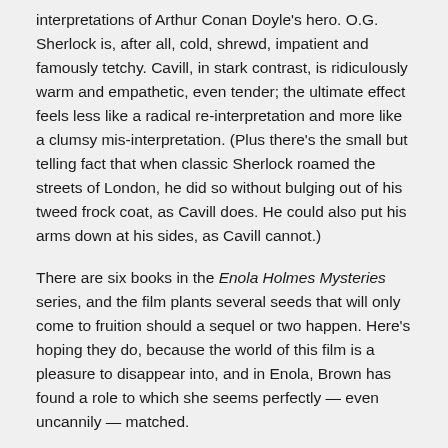interpretations of Arthur Conan Doyle's hero. O.G. Sherlock is, after all, cold, shrewd, impatient and famously tetchy. Cavill, in stark contrast, is ridiculously warm and empathetic, even tender; the ultimate effect feels less like a radical re-interpretation and more like a clumsy mis-interpretation. (Plus there's the small but telling fact that when classic Sherlock roamed the streets of London, he did so without bulging out of his tweed frock coat, as Cavill does. He could also put his arms down at his sides, as Cavill cannot.)
There are six books in the Enola Holmes Mysteries series, and the film plants several seeds that will only come to fruition should a sequel or two happen. Here's hoping they do, because the world of this film is a pleasure to disappear into, and in Enola, Brown has found a role to which she seems perfectly — even uncannily — matched.